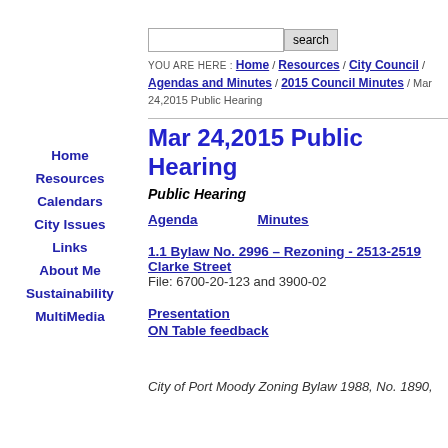Home
Resources
Calendars
City Issues
Links
About Me
Sustainability
MultiMedia
YOU ARE HERE : Home / Resources / City Council / Agendas and Minutes / 2015 Council Minutes / Mar 24,2015 Public Hearing
Mar 24,2015 Public Hearing
Public Hearing
Agenda    Minutes
1.1 Bylaw No. 2996 – Rezoning - 2513-2519 Clarke Street
File: 6700-20-123 and 3900-02
Presentation
ON Table feedback
City of Port Moody Zoning Bylaw 1988, No. 1890,